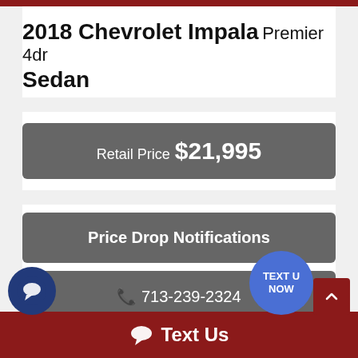2018 Chevrolet Impala Premier 4dr Sedan
Retail Price  $21,995
Price Drop Notifications
713-239-2324
Inquiry
Text Us
TEXT U NOW